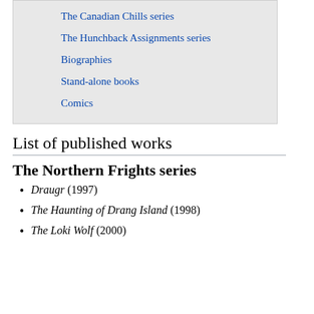The Canadian Chills series
The Hunchback Assignments series
Biographies
Stand-alone books
Comics
List of published works
The Northern Frights series
Draugr (1997)
The Haunting of Drang Island (1998)
The Loki Wolf (2000)